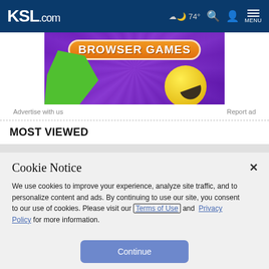KSL.com — 74° MENU
[Figure (illustration): Browser Games advertisement banner with purple background, green shape on left, yellow pac-man-like character on right, orange text reading BROWSER GAMES]
Advertise with us    Report ad
MOST VIEWED
Cookie Notice
We use cookies to improve your experience, analyze site traffic, and to personalize content and ads. By continuing to use our site, you consent to our use of cookies. Please visit our Terms of Use and Privacy Policy for more information.
Continue